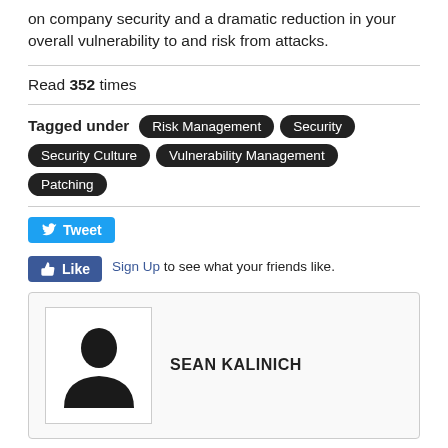on company security and a dramatic reduction in your overall vulnerability to and risk from attacks.
Read 352 times
Tagged under: Risk Management, Security, Security Culture, Vulnerability Management, Patching
[Figure (other): Tweet button (blue) and Like button (blue Facebook) with Sign Up link and 'to see what your friends like.' text]
[Figure (other): Author profile box with silhouette placeholder image and name SEAN KALINICH]
Latest from Sean Kalinich
New Advanced Fileless Malware Found Using Windows Event Logs